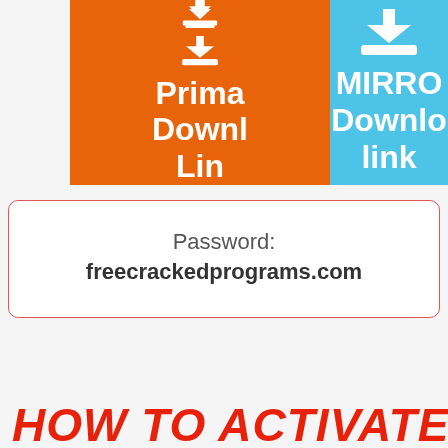[Figure (screenshot): Two download buttons side by side: an orange 'Primary Download Link' button and a light blue 'MIRROR Download link' button, each with a download arrow icon.]
Password: freecrackedprograms.com
HOW TO ACTIVATE